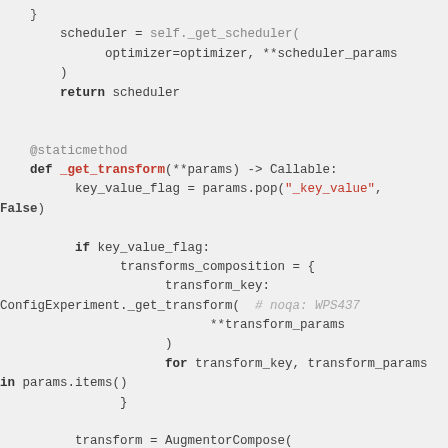[Figure (screenshot): Python source code showing a staticmethod _get_transform and code for transforms_composition dictionary comprehension and AugmentorCompose call]